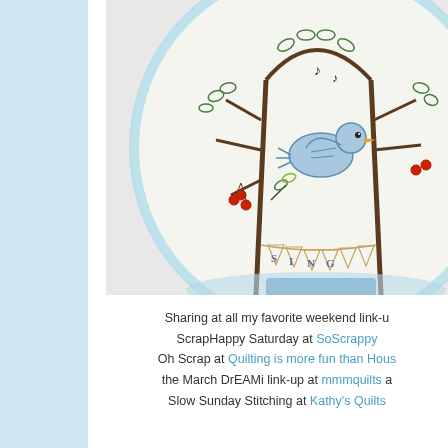[Figure (photo): Close-up photo of an embroidery hoop showing hand-stitched design with a blue bird on a branch with leaves and red cherries, musical notes, and a banner reading 'SING' in decorative letters on white fabric with a light blue hoop border.]
Sharing at all my favorite weekend link-ups: ScrapHappy Saturday at SoScrappy Oh Scrap at Quilting is more fun than Housework the March DrEAMi link-up at mmmquilts and Slow Sunday Stitching at Kathy's Quilts